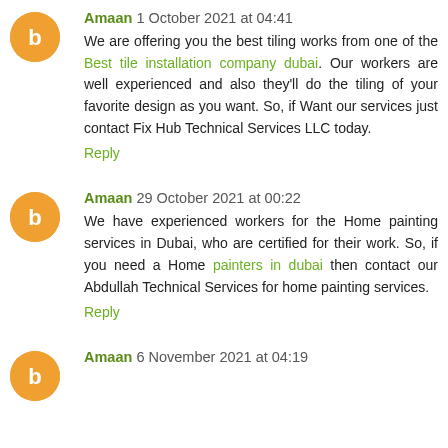Amaan 1 October 2021 at 04:41
We are offering you the best tiling works from one of the Best tile installation company dubai. Our workers are well experienced and also they'll do the tiling of your favorite design as you want. So, if Want our services just contact Fix Hub Technical Services LLC today.
Reply
Amaan 29 October 2021 at 00:22
We have experienced workers for the Home painting services in Dubai, who are certified for their work. So, if you need a Home painters in dubai then contact our Abdullah Technical Services for home painting services.
Reply
Amaan 6 November 2021 at 04:19